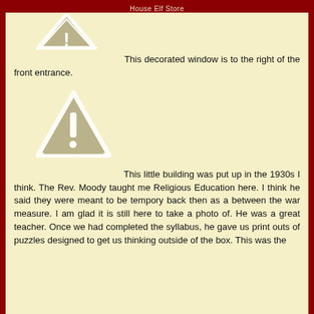House Elf Store
[Figure (illustration): Partial view of a warning/caution triangle icon at the top of the page, cropped]
This decorated window is to the right of the front entrance.
[Figure (illustration): A warning/caution triangle icon with exclamation mark, tan/beige colored with white border]
This little building was put up in the 1930s I think. The Rev. Moody taught me Religious Education here. I think he said they were meant to be tempory back then as a between the war measure. I am glad it is still here to take a photo of. He was a great teacher. Once we had completed the syllabus, he gave us print outs of puzzles designed to get us thinking outside of the box. This was the